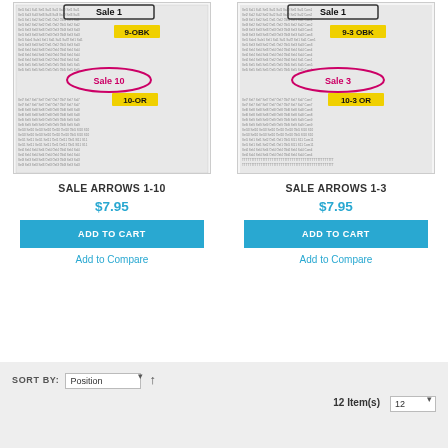[Figure (screenshot): Product image for Sale Arrows 1-10, showing a chart with sale arrow labels including Sale 1, Sale 10 (in pink), 9-OBK (yellow), 10-OR (yellow)]
SALE ARROWS 1-10
$7.95
ADD TO CART
Add to Compare
[Figure (screenshot): Product image for Sale Arrows 1-3, showing a chart with sale arrow labels including Sale 1, Sale 3 (in pink), 9-3 OBK (yellow), 10-3 OR (yellow)]
SALE ARROWS 1-3
$7.95
ADD TO CART
Add to Compare
SORT BY:
Position
12 Item(s)
12